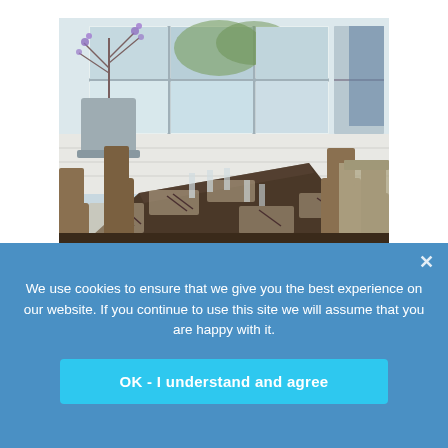[Figure (photo): Interior of Strandmøllekroen restaurant showing a long dining table set with glasses, cutlery and place settings, wooden chairs on both sides, white panelled walls, and large multi-pane windows looking out to greenery. A large potted plant with purple flowers stands on the windowsill.]
Strandmøllekroen (Skodsborg, Copenhagen area)
We use cookies to ensure that we give you the best experience on our website. If you continue to use this site we will assume that you are happy with it.
OK - I understand and agree